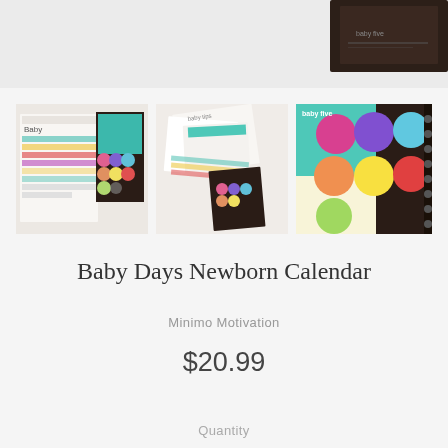[Figure (photo): Top partial product image strip showing a dark box/notebook in upper right corner against light gray background]
[Figure (photo): Three product thumbnail images of Baby Days Newborn Calendar: left shows flat lay calendar with colorful sticker rows and dark insert, center shows scattered calendar pages and booklets, right shows close-up of colorful circular button stickers on dark background with teal/green accents]
Baby Days Newborn Calendar
Minimo Motivation
$20.99
Quantity